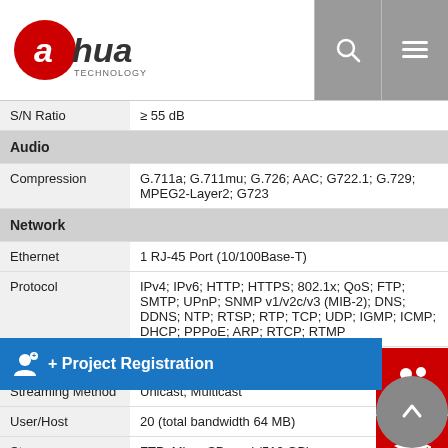Dahua Technology logo with search and menu icons
| Feature | Value |
| --- | --- |
| S/N Ratio | ≥ 55 dB |
| Audio |  |
| Compression | G.711a; G.711mu; G.726; AAC; G722.1; G.729; MPEG2-Layer2; G723 |
| Network |  |
| Ethernet | 1 RJ-45 Port (10/100Base-T) |
| Protocol | IPv4; IPv6; HTTP; HTTPS; 802.1x; QoS; FTP; SMTP; UPnP; SNMP v1/v2c/v3 (MIB-2); DNS; DDNS; NTP; RTSP; RTP; TCP; UDP; IGMP; ICMP; DHCP; PPPoE; ARP; RTCP; RTMP |
| Interoperability | ONVIF Profile S&G&T; CGI |
| Streaming Method | Unicast; Multicast |
| User/Host | 20 (total bandwidth 64 MB) |
| Storage | FTP; Micro SD card (512 GB) |
| Browser | IE7 and later versions; Chrome 42 and earlier versions; Firefox 52 and earlier versions; Safari |